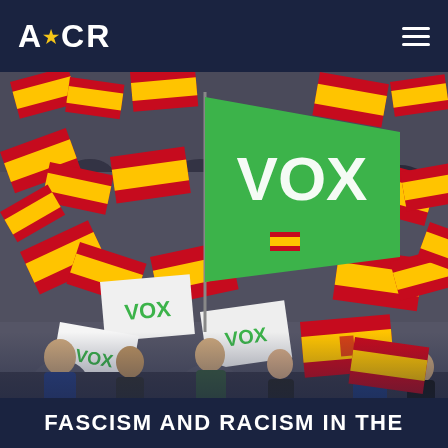A★CR
[Figure (photo): Crowd of people waving Spanish flags and green VOX party flags at a political rally. A large green VOX flag is prominently displayed in the center of the image.]
FASCISM AND RACISM IN THE